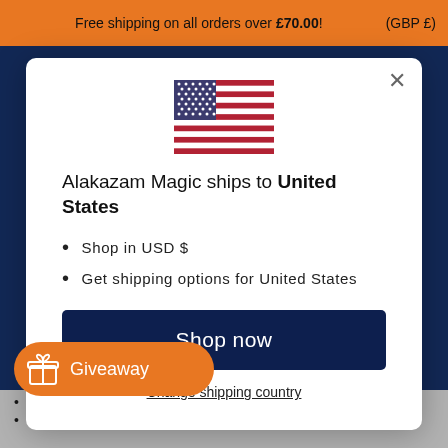Free shipping on all orders over £70.00! (GBP £)
[Figure (screenshot): Modal dialog on a shopping website showing US flag, shipping country selection to United States, with Shop now button and Change shipping country link. Background shows dark blue website. Orange top bar with free shipping notice. Giveaway button in bottom left.]
Alakazam Magic ships to United States
Shop in USD $
Get shipping options for United States
Shop now
Change shipping country
Giveaway
y "stop" at any time
The cards can be seen flicking by through the slot in the